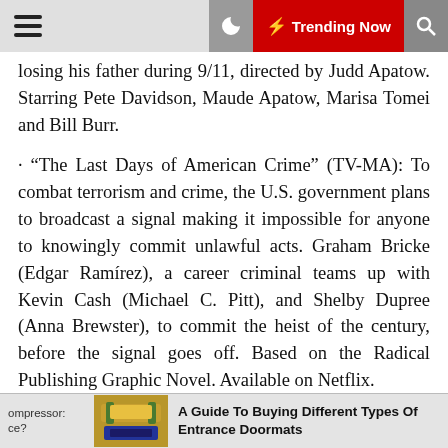Trending Now
losing his father during 9/11, directed by Judd Apatow. Starring Pete Davidson, Maude Apatow, Marisa Tomei and Bill Burr.
"The Last Days of American Crime" (TV-MA): To combat terrorism and crime, the U.S. government plans to broadcast a signal making it impossible for anyone to knowingly commit unlawful acts. Graham Bricke (Edgar Ramírez), a career criminal teams up with Kevin Cash (Michael C. Pitt), and Shelby Dupree (Anna Brewster), to commit the heist of the century, before the signal goes off. Based on the Radical Publishing Graphic Novel. Available on Netflix.
"Shirley" (R): Based on a novel about famous horror writer, Shirley Jackson (Elisabeth Moss), who finds inspiration for her next novel when she and her husband take in newlyweds. Also starring Michael Stuhlbarg and
ompressor: ce? A Guide To Buying Different Types Of Entrance Doormats